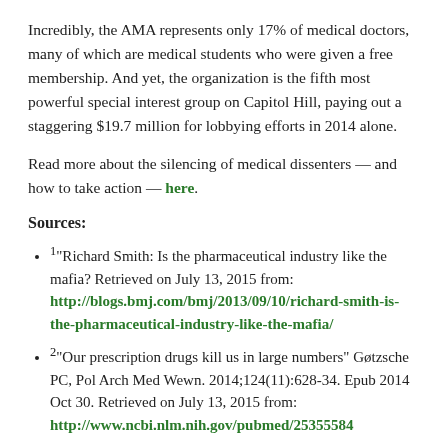Incredibly, the AMA represents only 17% of medical doctors, many of which are medical students who were given a free membership. And yet, the organization is the fifth most powerful special interest group on Capitol Hill, paying out a staggering $19.7 million for lobbying efforts in 2014 alone.
Read more about the silencing of medical dissenters — and how to take action — here.
Sources:
1"Richard Smith: Is the pharmaceutical industry like the mafia? Retrieved on July 13, 2015 from: http://blogs.bmj.com/bmj/2013/09/10/richard-smith-is-the-pharmaceutical-industry-like-the-mafia/
2"Our prescription drugs kill us in large numbers" Gøtzsche PC, Pol Arch Med Wewn. 2014;124(11):628-34. Epub 2014 Oct 30. Retrieved on July 13, 2015 from: http://www.ncbi.nlm.nih.gov/pubmed/25355584
http://www.cochrane.dk/about/profiles/pcg-profile.htm